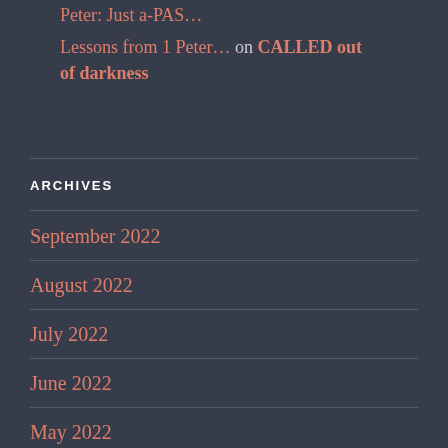Peter: Just a-PAS…
Lessons from 1 Peter… on CALLED out of darkness
ARCHIVES
September 2022
August 2022
July 2022
June 2022
May 2022